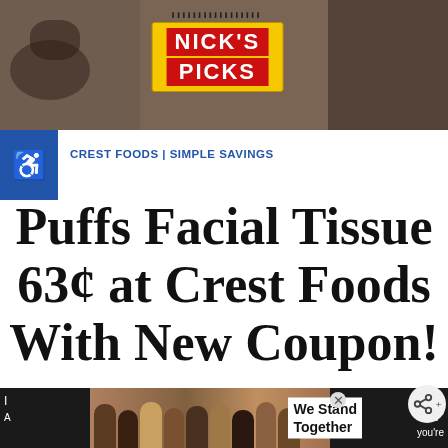[Figure (photo): Store shelf photo showing a yellow Nick's Picks price label sticker with red text, on a dark background]
CREST FOODS | SIMPLE SAVINGS
Puffs Facial Tissue 63¢ at Crest Foods With New Coupon!
Crest FAQ Current Crest Deals Find a Crest Near You If you're new to shopping Crest you may want to check out our Crest FAQ
[Figure (photo): Advertisement banner at bottom: group of people hugging with 'We Stand Together' text overlay]